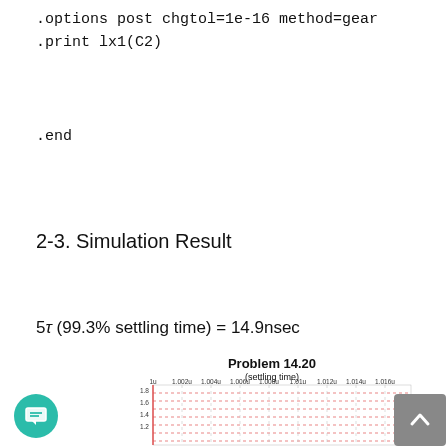.options post chgtol=1e-16 method=gear
.print lx1(C2)
.end
2-3. Simulation Result
5τ (99.3% settling time) = 14.9nsec
[Figure (continuous-plot): Problem 14.20 (settling time) chart showing a waveform plot with x-axis from 1u to 1.016u and y-axis from approximately 1.2 to 1.8, with red vertical line at 1u and dashed red horizontal grid lines.]